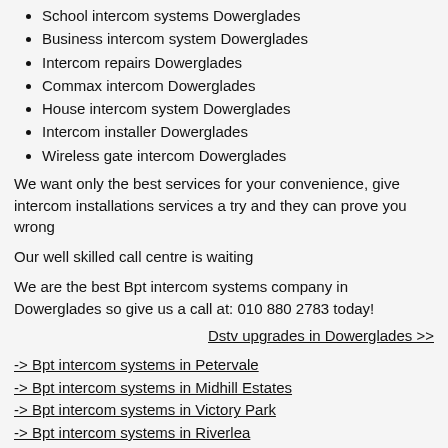School intercom systems Dowerglades
Business intercom system Dowerglades
Intercom repairs Dowerglades
Commax intercom Dowerglades
House intercom system Dowerglades
Intercom installer Dowerglades
Wireless gate intercom Dowerglades
We want only the best services for your convenience, give intercom installations services a try and they can prove you wrong
Our well skilled call centre is waiting
We are the best Bpt intercom systems company in Dowerglades so give us a call at: 010 880 2783 today!
Dstv upgrades in Dowerglades >>
-> Bpt intercom systems in Petervale
-> Bpt intercom systems in Midhill Estates
-> Bpt intercom systems in Victory Park
-> Bpt intercom systems in Riverlea
-> Bpt intercom systems in Elandshaven
-> Bpt intercom systems in Benmore Gardens
-> Bpt intercom systems in Donkerhoek
-> Bpt intercom systems in Gleniffer
-> Bpt intercom systems in Rynpark